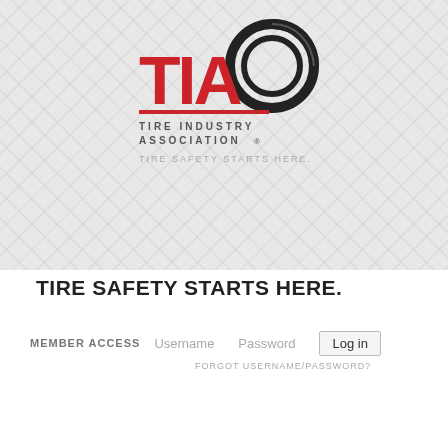[Figure (logo): TIA Tire Industry Association logo with tire graphic in red and black, tagline TIRE SAFETY STARTS HERE. below]
TIRE SAFETY STARTS HERE.
MEMBER ACCESS   Username   Password   Log in   FORGOT USERNAME/PASSWORD?
Main menu
-
TIA Announces the 2018-2019 Board of